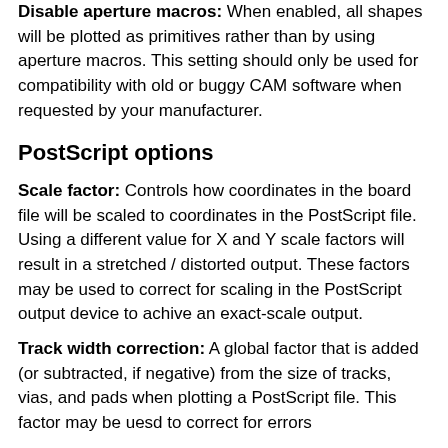Disable aperture macros: When enabled, all shapes will be plotted as primitives rather than by using aperture macros. This setting should only be used for compatibility with old or buggy CAM software when requested by your manufacturer.
PostScript options
Scale factor: Controls how coordinates in the board file will be scaled to coordinates in the PostScript file. Using a different value for X and Y scale factors will result in a stretched / distorted output. These factors may be used to correct for scaling in the PostScript output device to achive an exact-scale output.
Track width correction: A global factor that is added (or subtracted, if negative) from the size of tracks, vias, and pads when plotting a PostScript file. This factor may be uesd to correct for errors in the PostScript output device.